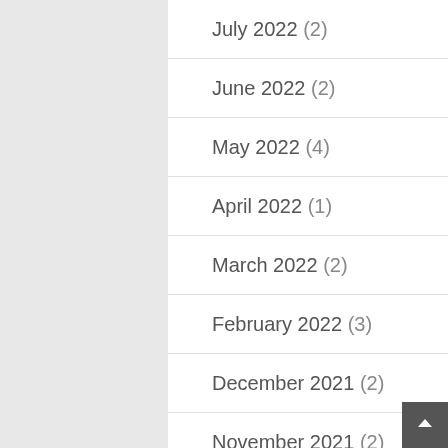July 2022 (2)
June 2022 (2)
May 2022 (4)
April 2022 (1)
March 2022 (2)
February 2022 (3)
December 2021 (2)
November 2021 (2)
October 2021 (1)